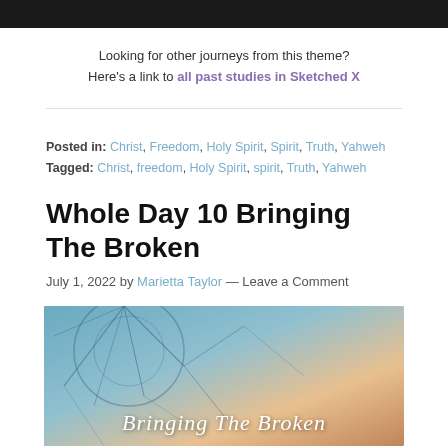[Figure (photo): Dark photo partially visible at top of page]
Looking for other journeys from this theme? Here's a link to all past studies in Sketched X
Posted in: Christ, Freedom, Holy Spirit, Spirit, Truth, Yahweh Tagged: Christ, freedom, Holy Spirit, spirit, Truth, Yahweh
Whole Day 10 Bringing The Broken
July 1, 2022 by Marietta Taylor — Leave a Comment
[Figure (photo): Shattered glass or wire sculpture against a sunset sky with text 'Bringing The Broken']